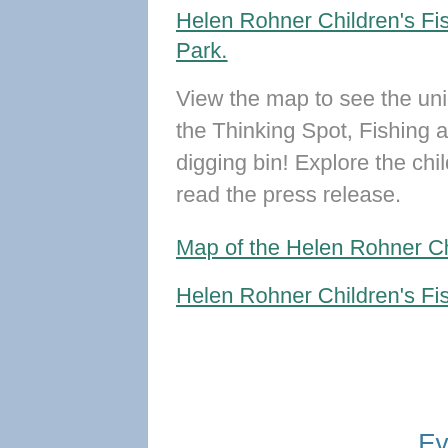Helen Rohner Children's Fishing Park.
View the map to see the unique features of the Park from the Thinking Spot, Fishing areas, boardwalk, to the worm digging bin! Explore the children's classes at the park and read the press release.
Map of the Helen Rohner Children's Fishing Park
Helen Rohner Children's Fishing Park Press Release
Events
Purchase tickets for the